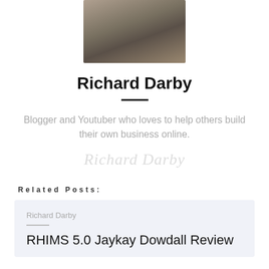[Figure (photo): Profile photo of Richard Darby, a man in a casual shirt, cropped portrait.]
Richard Darby
Blogger and Youtuber who loves to help others build their own business online.
Richard Darby
Related Posts:
Richard Darby
RHIMS 5.0 Jaykay Dowdall Review